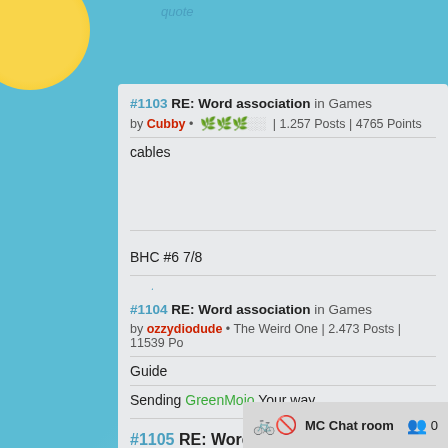quote
#1103 RE: Word association in Games by Cubby • [rank stars] | 1.257 Posts | 4765 Points
cables
BHC #6 7/8
quote
#1104 RE: Word association in Games by ozzydiodude • The Weird One | 2.473 Posts | 11539 Po
Guide
Sending GreenMojo Your way
quote
#1105 RE: Word association i
MC Chat room 0